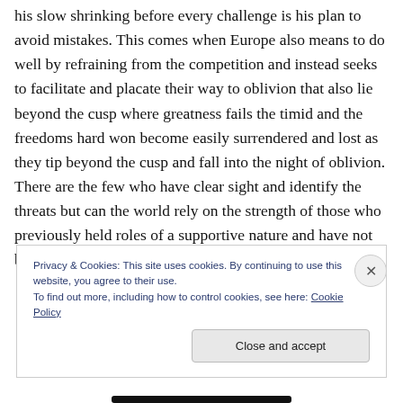his slow shrinking before every challenge is his plan to avoid mistakes. This comes when Europe also means to do well by refraining from the competition and instead seeks to facilitate and placate their way to oblivion that also lie beyond the cusp where greatness fails the timid and the freedoms hard won become easily surrendered and lost as they tip beyond the cusp and fall into the night of oblivion. There are the few who have clear sight and identify the threats but can the world rely on the strength of those who previously held roles of a supportive nature and have not been leaders of the free world as is now
Privacy & Cookies: This site uses cookies. By continuing to use this website, you agree to their use.
To find out more, including how to control cookies, see here: Cookie Policy
Close and accept